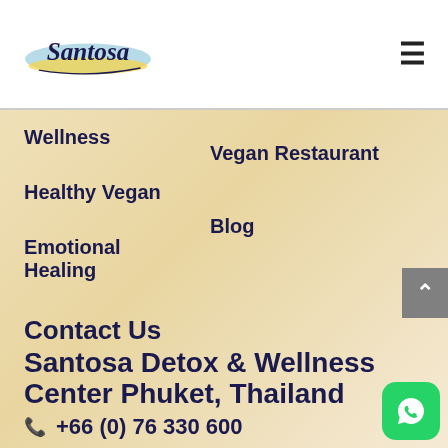Santosa [logo]
Wellness
Vegan Restaurant
Healthy Vegan
Blog
Emotional Healing
Contact Us
Santosa Detox & Wellness Center Phuket, Thailand
+66 (0) 76 330 600